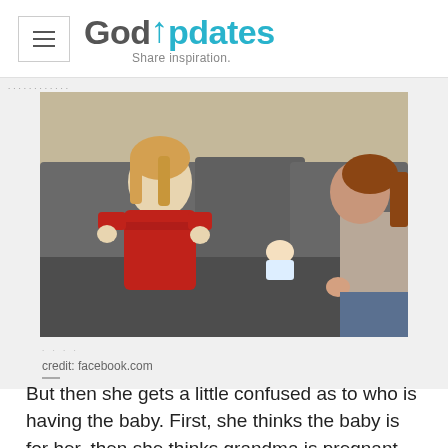GodUpdates — Share inspiration.
[Figure (photo): A young girl in a red sweater sits on a grey sofa talking with a woman (partially visible on the right), with a baby doll lying on the sofa between them.]
credit: facebook.com
But then she gets a little confused as to who is having the baby. First, she thinks the baby is for her, then she thinks grandma is pregnant and then she realizes that her momma is the one expecting. You can see the light